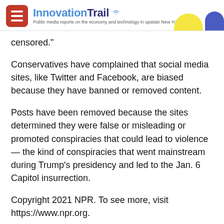InnovationTrail — Public media reports on the economy and technology in upstate New York
censored."
Conservatives have complained that social media sites, like Twitter and Facebook, are biased because they have banned or removed content.
Posts have been removed because the sites determined they were false or misleading or promoted conspiracies that could lead to violence — the kind of conspiracies that went mainstream during Trump's presidency and led to the Jan. 6 Capitol insurrection.
Copyright 2021 NPR. To see more, visit https://www.npr.org.